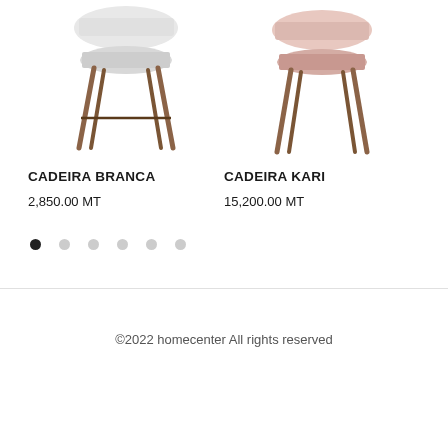[Figure (photo): White chair with wooden legs, product photo on white background, top cropped]
[Figure (photo): Pink/beige chair with wooden legs, product photo on white background, top cropped]
CADEIRA BRANCA
2,850.00 MT
CADEIRA KARI
15,200.00 MT
©2022 homecenter All rights reserved